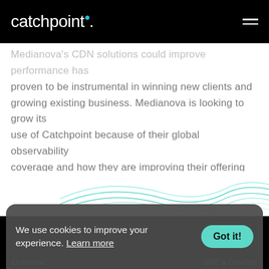catchpoint.
Medianova's CDN solutions could improve performance has proven to be instrumental in winning new clients and growing existing business. Medianova is looking to grow its use of Catchpoint because of their global observability coverage and how they are improving their offering faster than competing tools.
[Figure (illustration): Abstract wave/mesh decorative graphic in teal and purple tones transitioning from white to black background]
We use cookies to improve your experience. Learn more
Overview   SRE & DevOps